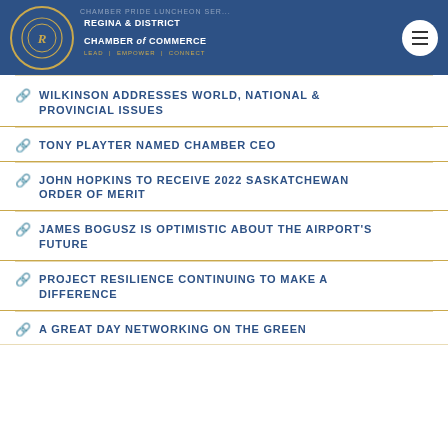Regina & District Chamber of Commerce — LEAD | EMPOWER | CONNECT
WILKINSON ADDRESSES WORLD, NATIONAL & PROVINCIAL ISSUES
TONY PLAYTER NAMED CHAMBER CEO
JOHN HOPKINS TO RECEIVE 2022 SASKATCHEWAN ORDER OF MERIT
JAMES BOGUSZ IS OPTIMISTIC ABOUT THE AIRPORT'S FUTURE
PROJECT RESILIENCE CONTINUING TO MAKE A DIFFERENCE
A GREAT DAY NETWORKING ON THE GREEN